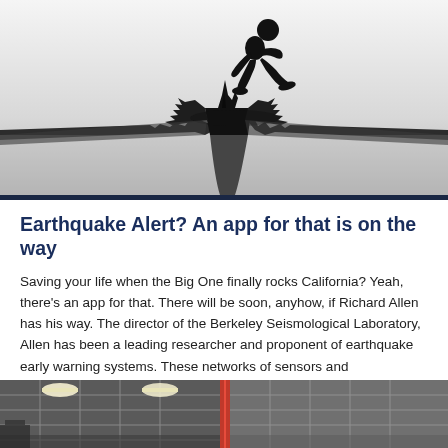[Figure (illustration): Silhouette of a person running/jumping over a large cracked ground/earth fissure, dramatic earthquake scene illustration]
Earthquake Alert? An app for that is on the way
Saving your life when the Big One finally rocks California? Yeah, there's an app for that. There will be soon, anyhow, if Richard Allen has his way. The director of the Berkeley Seismological Laboratory, Allen has been a leading researcher and proponent of earthquake early warning systems. These networks of sensors and communication devices are [...]
[Figure (photo): Interior of what appears to be a warehouse or industrial building with ceiling lights, partially visible]